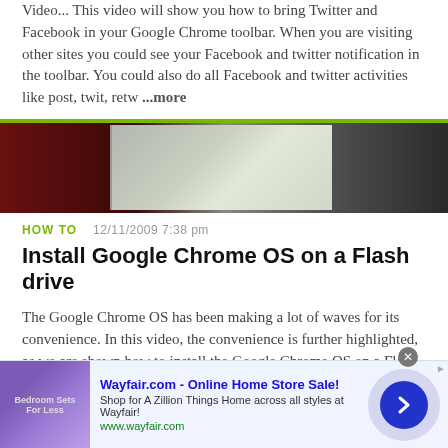Video... This video will show you how to bring Twitter and Facebook in your Google Chrome toolbar. When you are visiting other sites you could see your Facebook and twitter notification in the toolbar. You could also do all Facebook and twitter activities like post, twit, retw ...more
[Figure (photo): Dark thumbnail image showing a person at a computer screen, partially visible against a dark red/maroon background]
HOW TO   12/11/2009 7:38 pm
Install Google Chrome OS on a Flash drive
The Google Chrome OS has been making a lot of waves for its convenience. In this video, the convenience is further highlighted, as we are shown how to install the Google Chrome OS on a Flash drive. Now you can take the entire OS with you wherever you'd like to go. For running ...more
[Figure (other): Advertisement banner: Wayfair.com - Online Home Store Sale! Shop for A Zillion Things Home across all styles at Wayfair! www.wayfair.com]